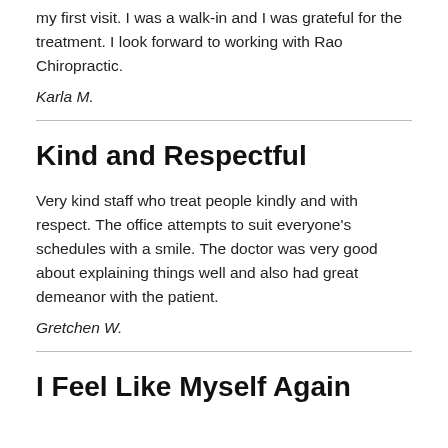my first visit. I was a walk-in and I was grateful for the treatment. I look forward to working with Rao Chiropractic.
Karla M.
Kind and Respectful
Very kind staff who treat people kindly and with respect. The office attempts to suit everyone's schedules with a smile. The doctor was very good about explaining things well and also had great demeanor with the patient.
Gretchen W.
I Feel Like Myself Again